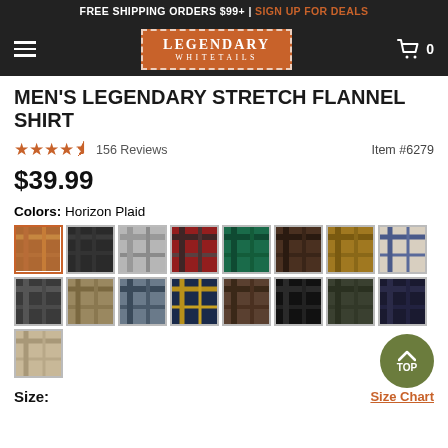FREE SHIPPING ORDERS $99+ | SIGN UP FOR DEALS
[Figure (logo): Legendary Whitetails logo in orange rectangle with dashed white border, on dark navigation bar with hamburger menu and cart icon]
MEN'S LEGENDARY STRETCH FLANNEL SHIRT
4.5 stars  156 Reviews   Item #6279
$39.99
Colors:  Horizon Plaid
[Figure (other): Grid of 17 color swatches for flannel shirt colors. First swatch (Horizon Plaid) selected with orange border.]
Size:    Size Chart